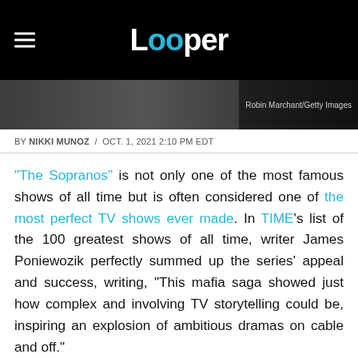Looper
[Figure (photo): Close-up photo of a person, partially visible, dark background. Credit: Robin Marchant/Getty Images]
BY NIKKI MUNOZ / OCT. 1, 2021 2:10 PM EDT
"The Sopranos" is not only one of the most famous shows of all time but is often considered one of the most perfect TV shows ever made. In TIME's list of the 100 greatest shows of all time, writer James Poniewozik perfectly summed up the series' appeal and success, writing, "This mafia saga showed just how complex and involving TV storytelling could be, inspiring an explosion of ambitious dramas on cable and off."